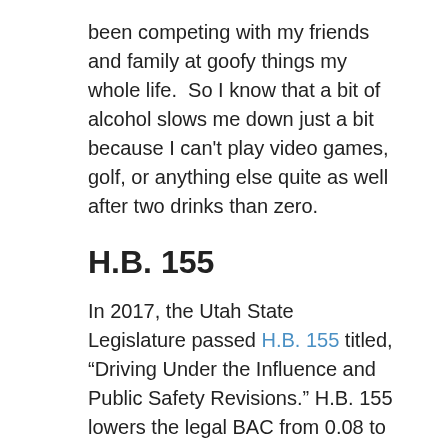been competing with my friends and family at goofy things my whole life.  So I know that a bit of alcohol slows me down just a bit because I can't play video games, golf, or anything else quite as well after two drinks than zero.
H.B. 155
In 2017, the Utah State Legislature passed H.B. 155 titled, “Driving Under the Influence and Public Safety Revisions.” H.B. 155 lowers the legal BAC from 0.08 to 0.05. It also makes vehicular homicide a felony if the driver was above the legal limit. H.B. 155 also bans “novice” drivers from having a BAC between 0.00 and 0.05. This means that any inexperienced driver 21 or over may not have any trace of alcohol in their system